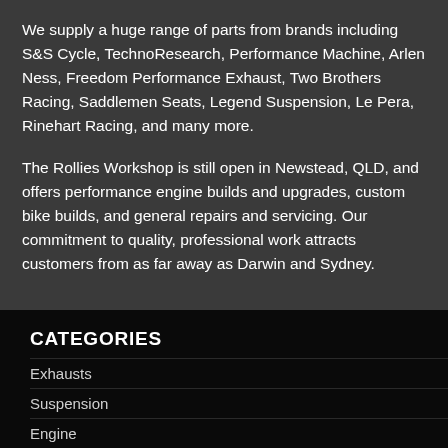We supply a huge range of parts from brands including S&S Cycle, TechnoResearch, Performance Machine, Arlen Ness, Freedom Performance Exhaust, Two Brothers Racing, Saddlemen Seats, Legend Suspension, Le Pera, Rinehart Racing, and many more.
The Rollies Workshop is still open in Newstead, QLD, and offers performance engine builds and upgrades, custom bike builds, and general repairs and servicing. Our commitment to quality, professional work attracts customers from as far away as Darwin and Sydney.
CATEGORIES
Exhausts
Suspension
Engine
Tyres & Wheels